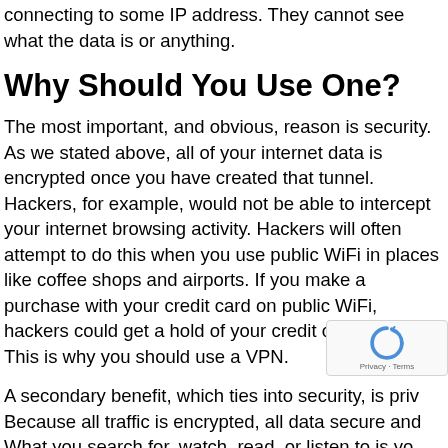connecting to some IP address. They cannot see what the data is or anything.
Why Should You Use One?
The most important, and obvious, reason is security. As we stated above, all of your internet data is encrypted once you have created that tunnel. Hackers, for example, would not be able to intercept your internet browsing activity. Hackers will often attempt to do this when you use public WiFi in places like coffee shops and airports. If you make a purchase with your credit card on public WiFi, hackers could get a hold of your credit card number. This is why you should use a VPN.
A secondary benefit, which ties into security, is privacy. Because all traffic is encrypted, all data secure and... What you search for, watch, read, or listen to is your...